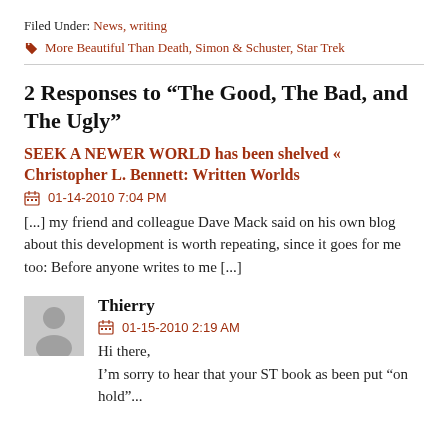Filed Under: News, writing
More Beautiful Than Death, Simon & Schuster, Star Trek
2 Responses to “The Good, The Bad, and The Ugly”
SEEK A NEWER WORLD has been shelved « Christopher L. Bennett: Written Worlds
01-14-2010 7:04 PM
[...] my friend and colleague Dave Mack said on his own blog about this development is worth repeating, since it goes for me too: Before anyone writes to me [...]
Thierry
01-15-2010 2:19 AM
Hi there,
I’m sorry to hear that your ST book as been put “on hold”...